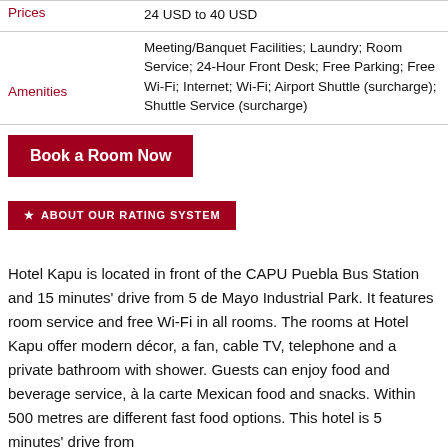| Label | Value |
| --- | --- |
| Prices | 24 USD to 40 USD |
| Amenities | Meeting/Banquet Facilities; Laundry; Room Service; 24-Hour Front Desk; Free Parking; Free Wi-Fi; Internet; Wi-Fi; Airport Shuttle (surcharge); Shuttle Service (surcharge) |
Book a Room Now
ABOUT OUR RATING SYSTEM
Hotel Kapu is located in front of the CAPU Puebla Bus Station and 15 minutes' drive from 5 de Mayo Industrial Park. It features room service and free Wi-Fi in all rooms. The rooms at Hotel Kapu offer modern décor, a fan, cable TV, telephone and a private bathroom with shower. Guests can enjoy food and beverage service, à la carte Mexican food and snacks. Within 500 metres are different fast food options. This hotel is 5 minutes' drive from